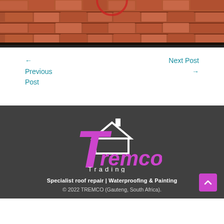[Figure (photo): Aerial or close-up photo of a tiled roof with wooden planks, reddish-brown tiles visible, dark border at bottom]
← Previous Post
Next Post →
[Figure (logo): Tremco Trading logo: large purple T with white house/roof icon outline above text 'Tremco' in purple italic and 'Trading' in white spaced letters]
Specialist roof repair | Waterproofing & Painting
© 2022 TREMCO (Gauteng, South Africa).